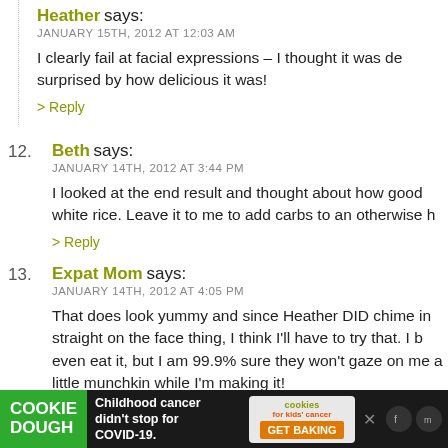Heather says:
JANUARY 15TH, 2012 AT 12:03 AM
I clearly fail at facial expressions – I thought it was de… surprised by how delicious it was!
> Reply
12. Beth says:
JANUARY 14TH, 2012 AT 3:44 PM
I looked at the end result and thought about how good… white rice. Leave it to me to add carbs to an otherwise h…
> Reply
13. Expat Mom says:
JANUARY 14TH, 2012 AT 4:05 PM
That does look yummy and since Heather DID chime in… straight on the face thing, I think I'll have to try that. I b… even eat it, but I am 99.9% sure they won't gaze on me a… little munchkin while I'm making it!
[Figure (other): Cookie Dough advertisement banner: 'Childhood cancer didn't stop for COVID-19. GET BAKING' with cookie and kids cancer logos]